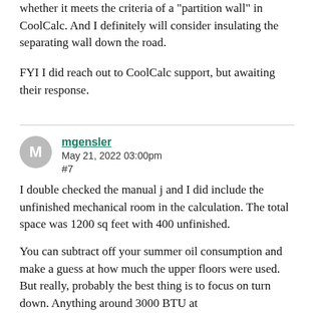whether it meets the criteria of a "partition wall" in CoolCalc. And I definitely will consider insulating the separating wall down the road.
FYI I did reach out to CoolCalc support, but awaiting their response.
mgensler
May 21, 2022 03:00pm
#7
I double checked the manual j and I did include the unfinished mechanical room in the calculation. The total space was 1200 sq feet with 400 unfinished.
You can subtract off your summer oil consumption and make a guess at how much the upper floors were used. But really, probably the best thing is to focus on turn down. Anything around 3000 BTU at